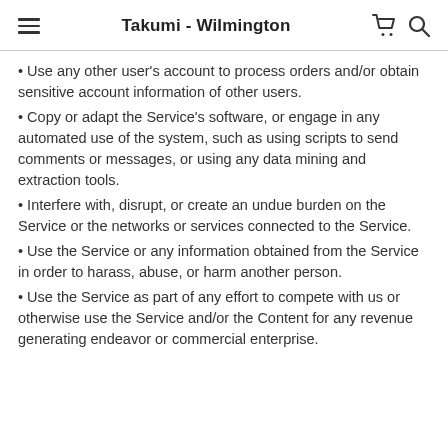Takumi - Wilmington
Use any other user's account to process orders and/or obtain sensitive account information of other users.
Copy or adapt the Service's software, or engage in any automated use of the system, such as using scripts to send comments or messages, or using any data mining and extraction tools.
Interfere with, disrupt, or create an undue burden on the Service or the networks or services connected to the Service.
Use the Service or any information obtained from the Service in order to harass, abuse, or harm another person.
Use the Service as part of any effort to compete with us or otherwise use the Service and/or the Content for any revenue generating endeavor or commercial enterprise.